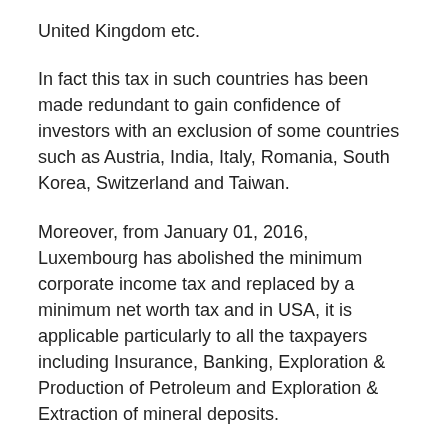United Kingdom etc.
In fact this tax in such countries has been made redundant to gain confidence of investors with an exclusion of some countries such as Austria, India, Italy, Romania, South Korea, Switzerland and Taiwan.
Moreover, from January 01, 2016, Luxembourg has abolished the minimum corporate income tax and replaced by a minimum net worth tax and in USA, it is applicable particularly to all the taxpayers including Insurance, Banking, Exploration & Production of Petroleum and Exploration & Extraction of mineral deposits.
The PTBA pointed out that it appears that the legislature aims to recover more and more taxes from the existing documented sector instead of broadening